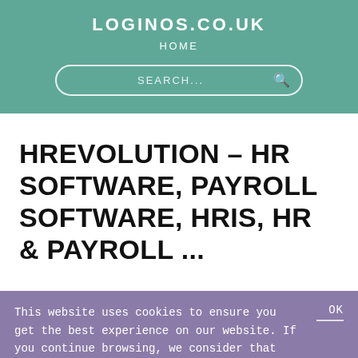LOGINOS.CO.UK
HOME
SEARCH...
HREVOLUTION - HR SOFTWARE, PAYROLL SOFTWARE, HRIS, HR & PAYROLL ...
This website uses cookies to ensure you get the best experience on our website. If you continue browsing, we consider that you accept their use.
OK